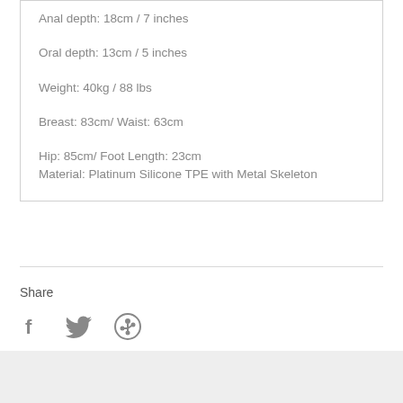Anal depth: 18cm / 7 inches
Oral depth: 13cm / 5 inches
Weight: 40kg / 88 lbs
Breast: 83cm/ Waist: 63cm
Hip: 85cm/ Foot Length: 23cm
Material: Platinum Silicone TPE with Metal Skeleton
Share
[Figure (infographic): Social share icons: Facebook (f), Twitter (bird), Pinterest (p)]